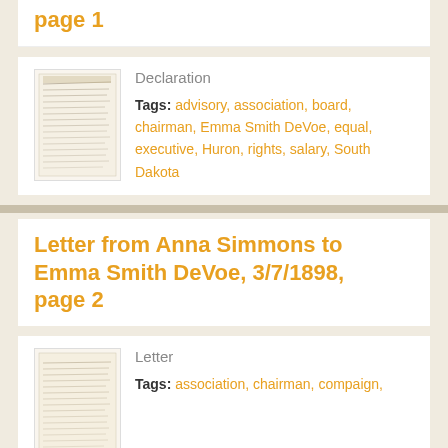page 1
Declaration
Tags: advisory, association, board, chairman, Emma Smith DeVoe, equal, executive, Huron, rights, salary, South Dakota
Letter from Anna Simmons to Emma Smith DeVoe, 3/7/1898, page 2
Letter
Tags: association, chairman, compaign,